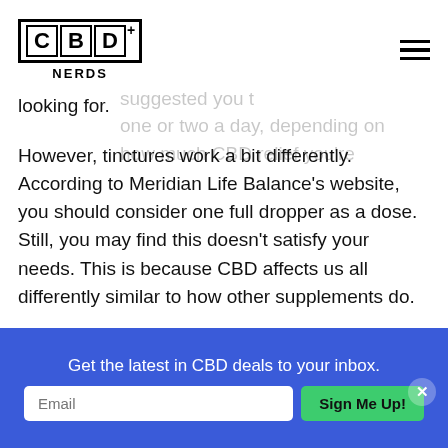CBD+ NERDS logo and hamburger menu
ox. For all the topicals, it's suggested that you ed. For the capsules, it's suggested you take one or two a day, depending on how much CBD relief you're looking for.
However, tinctures work a bit differently. According to Meridian Life Balance’s website, you should consider one full dropper as a dose. Still, you may find this doesn’t satisfy your needs. This is because CBD affects us all differently similar to how other supplements do.
If you’re new to the CBD industry and are trying to figure out the right dosage for you, we suggest starting small and working your way up. This would mean taking one full dropper, seeing how it makes you feel and if you’re not satisfied, taking one more full dropper. This will give you an idea of how CBD affects you and how much you’ll need in
Get the latest in CBD deals to your inbox.